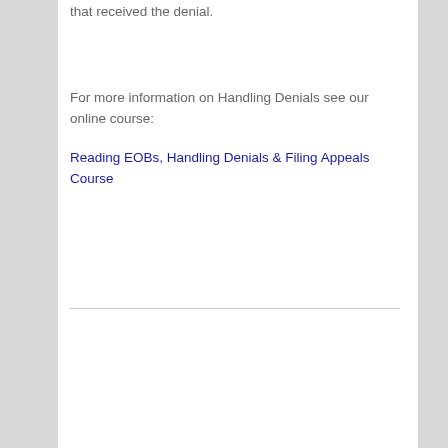that received the denial.
For more information on Handling Denials see our online course:
Reading EOBs, Handling Denials & Filing Appeals Course